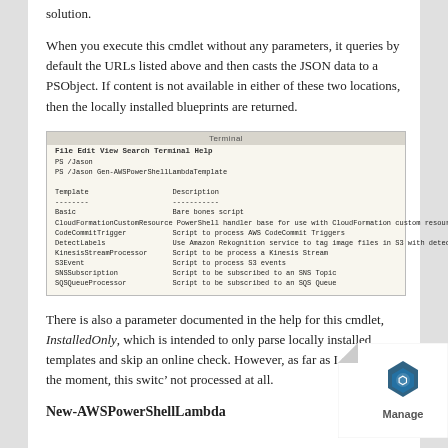solution.
When you execute this cmdlet without any parameters, it queries by default the URLs listed above and then casts the JSON data to a PSObject. If content is not available in either of these two locations, then the locally installed blueprints are returned.
[Figure (screenshot): Terminal window showing output of PS /Jason and PS /Jason Gen-AWSPowerShellLambdaTemplate command, listing Lambda templates: Basic, CloudFormationCustomResource, CodeCommitTrigger, DetectLabels, KinesisStreamProcessor, S3Event, SNSSubscription, SQSQueueProcessor with their descriptions.]
There is also a parameter documented in the help for this cmdlet, InstalledOnly, which is intended to only parse locally installed templates and skip an online check. However, as far as I can see at the moment, this switch is not processed at all.
New-AWSPowerShellLambda